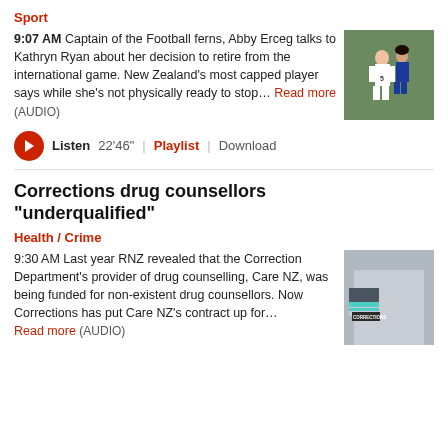Sport
9:07 AM Captain of the Football ferns, Abby Erceg talks to Kathryn Ryan about her decision to retire from the international game. New Zealand's most capped player says while she's not physically ready to stop... Read more (AUDIO)
[Figure (photo): Two female soccer players competing on the field, one in white jersey number 5]
Listen 22'46" | Playlist | Download
Corrections drug counsellors "underqualified"
Health / Crime
9:30 AM Last year RNZ revealed that the Correction Department's provider of drug counselling, Care NZ, was being funded for non-existent drug counsellors. Now Corrections has put Care NZ's contract up for... Read more (AUDIO)
[Figure (photo): Close-up of a person wearing a Corrections uniform, showing arm patch]